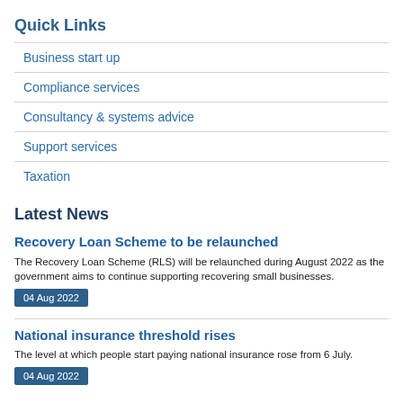Quick Links
Business start up
Compliance services
Consultancy & systems advice
Support services
Taxation
Latest News
Recovery Loan Scheme to be relaunched
The Recovery Loan Scheme (RLS) will be relaunched during August 2022 as the government aims to continue supporting recovering small businesses.
04 Aug 2022
National insurance threshold rises
The level at which people start paying national insurance rose from 6 July.
04 Aug 2022